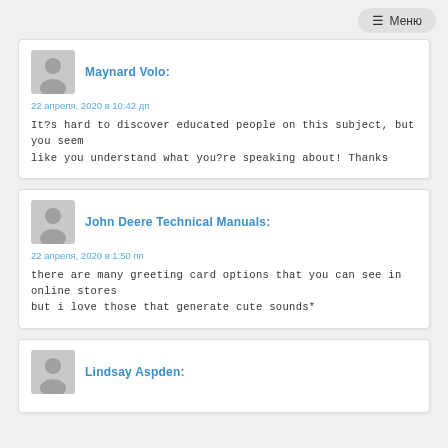☰ Меню
Maynard Volo:
22 апреля, 2020 в 10:42 дп
It?s hard to discover educated people on this subject, but you seem like you understand what you?re speaking about! Thanks
John Deere Technical Manuals:
22 апреля, 2020 в 1:50 пп
there are many greeting card options that you can see in online stores but i love those that generate cute sounds*
Lindsay Aspden: